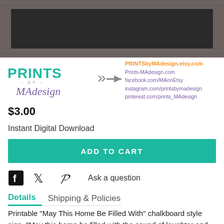[Figure (photo): Chalkboard style sign in a grey wood frame, dark interior visible at top]
[Figure (logo): Prints by MA design logo with teal and purple lettering, arrows pointing right to curly brace with website links: PRINTSbyMAdesign.etsy.com, Prints-MAdesign.com, facebook.com/MAonEtsy, instagram.com/printsbymadesign, pinterest.com/prints_MAdesign]
$3.00
Instant Digital Download
ADD TO CART
Ask a question
Details
Shipping & Policies
Printable "May This Home Be Filled With" chalkboard style sign. "May this home be filled with the sound of laughter and giggles, friends old and new, sunshine & light, magical stories and tales, happy memories